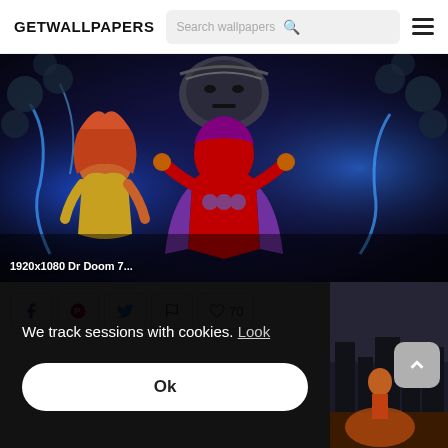GETWALLPAPERS
[Figure (screenshot): Comic book wallpaper featuring Dr. Doom / Magneto and a female character with red hair on a blue cosmic background. Label reads '1920x1080 Dr Doom 7...']
1920x1080 Dr Doom 7...
70
Download
We track sessions with cookies. Look
Ok